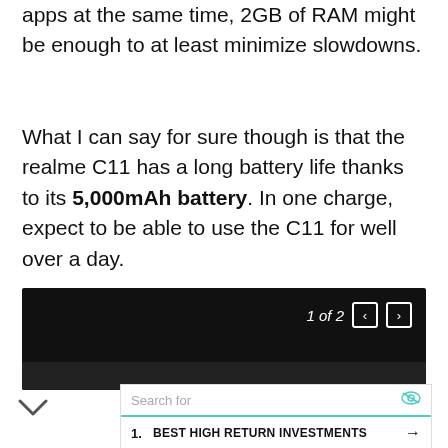apps at the same time, 2GB of RAM might be enough to at least minimize slowdowns.
What I can say for sure though is that the realme C11 has a long battery life thanks to its 5,000mAh battery. In one charge, expect to be able to use the C11 for well over a day.
[Figure (screenshot): Dark image viewer panel showing '1 of 2' navigation with left/right arrows]
1. BEST HIGH RETURN INVESTMENTS →
2. TOP STOCKS TO BUY FOR BEGINNERS →
Ad | Business Focus